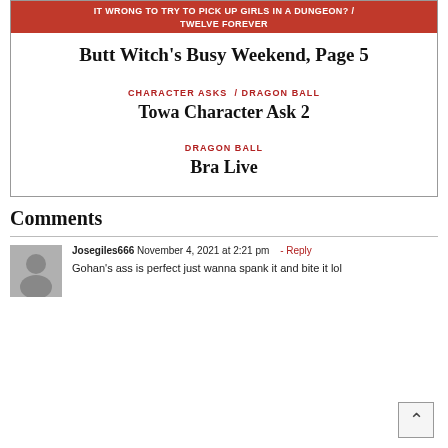IT WRONG TO TRY TO PICK UP GIRLS IN A DUNGEON? / TWELVE FOREVER
Butt Witch's Busy Weekend, Page 5
CHARACTER ASKS  /  DRAGON BALL
Towa Character Ask 2
DRAGON BALL
Bra Live
Comments
Josegiles666 November 4, 2021 at 2:21 pm  - Reply
Gohan's ass is perfect just wanna spank it and bite it lol